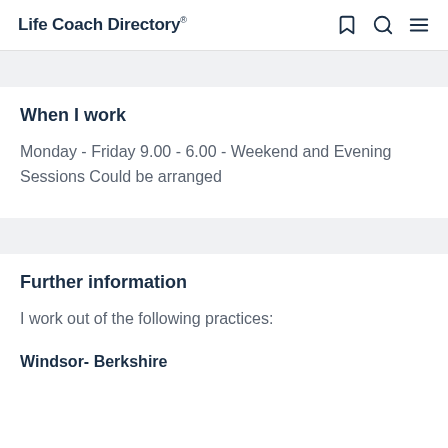Life Coach Directory
When I work
Monday - Friday 9.00 - 6.00 - Weekend and Evening Sessions Could be arranged
Further information
I work out of the following practices:
Windsor- Berkshire